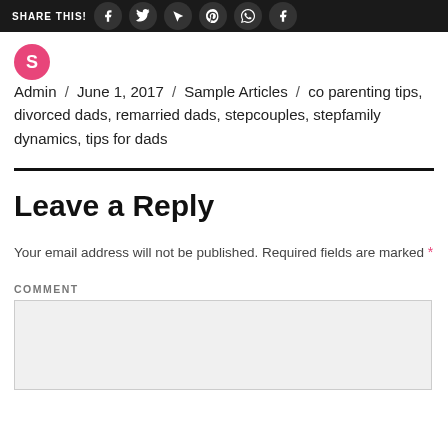SHARE THIS!
Admin / June 1, 2017 / Sample Articles / co parenting tips, divorced dads, remarried dads, stepcouples, stepfamily dynamics, tips for dads
Leave a Reply
Your email address will not be published. Required fields are marked *
COMMENT